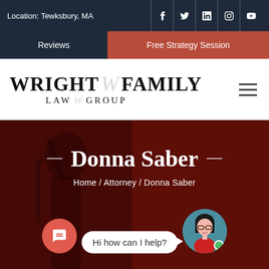Location: Tewksbury, MA
Reviews
Free Strategy Session
[Figure (logo): Wright Family Law Group logo with stylized W emblem]
Donna Saber
Home / Attorney / Donna Saber
Hi how can I help?